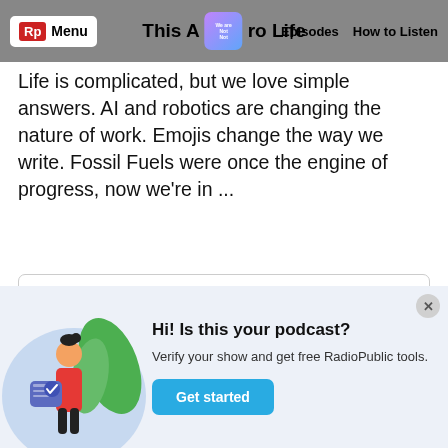This American Life — Menu | Episodes | How to Listen
Life is complicated, but we love simple answers. AI and robotics are changing the nature of work. Emojis change the way we write. Fossil Fuels were once the engine of progress, now we're in ...
Learn More
[Figure (illustration): Black square image placeholder]
[Figure (illustration): Illustration of a woman with a verification card, green leaves in background, on light blue circle]
Hi! Is this your podcast? Verify your show and get free RadioPublic tools.
Get started